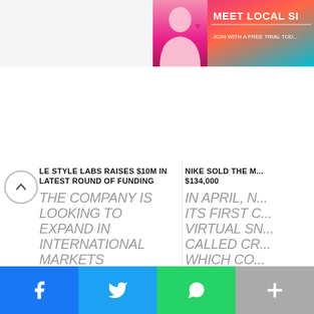[Figure (photo): Advertisement banner at top right - woman photo with pink/teal gradient background, text MEET LOCAL SI... JOIN WITH A FREE TRIAL TOD...]
LE STYLE LABS RAISES $10M IN LATEST ROUND OF FUNDING
THE COMPANY IS LOOKING TO EXPAND IN INTERNATIONAL MARKETS WITH RETAIL STORES IN NEW YORK AND DUBAI IN THE NEXT 12-18 MONTHS.
VISHVAS NARAYAN × JUNE 28, 2022
NIKE SOLD THE M... $134,000
IN APRIL, N... ITS FIRST C... VIRTUAL SN... CALLED CR... WHICH CO... 20,000 NFT...
KUNJIT GUPTA × JU...
[Figure (photo): Dark blue/purple image strip showing circular coin objects, bottom section of page]